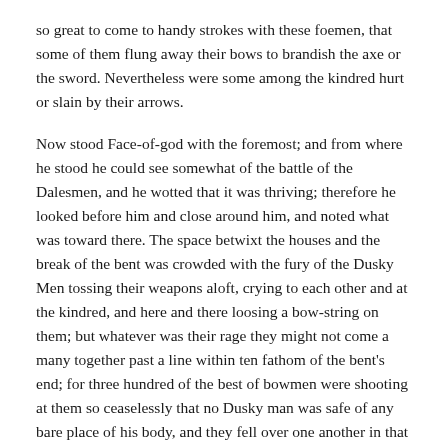so great to come to handy strokes with these foemen, that some of them flung away their bows to brandish the axe or the sword. Nevertheless were some among the kindred hurt or slain by their arrows.
Now stood Face-of-god with the foremost; and from where he stood he could see somewhat of the battle of the Dalesmen, and he wotted that it was thriving; therefore he looked before him and close around him, and noted what was toward there. The space betwixt the houses and the break of the bent was crowded with the fury of the Dusky Men tossing their weapons aloft, crying to each other and at the kindred, and here and there loosing a bow-string on them; but whatever was their rage they might not come a many together past a line within ten fathom of the bent's end; for three hundred of the best of bowmen were shooting at them so ceaselessly that no Dusky man was safe of any bare place of his body, and they fell over one another in that penfold of slaughter, and for all their madness did but little.